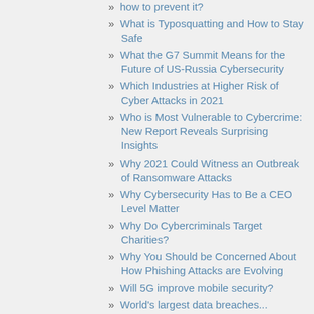how to prevent it?
What is Typosquatting and How to Stay Safe
What the G7 Summit Means for the Future of US-Russia Cybersecurity
Which Industries at Higher Risk of Cyber Attacks in 2021
Who is Most Vulnerable to Cybercrime: New Report Reveals Surprising Insights
Why 2021 Could Witness an Outbreak of Ransomware Attacks
Why Cybersecurity Has to Be a CEO Level Matter
Why Do Cybercriminals Target Charities?
Why You Should be Concerned About How Phishing Attacks are Evolving
Will 5G improve mobile security?
World's largest data breaches...